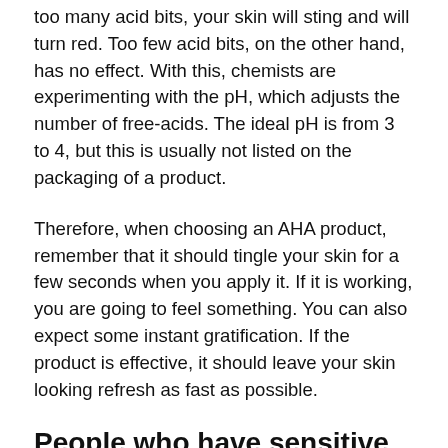too many acid bits, your skin will sting and will turn red. Too few acid bits, on the other hand, has no effect. With this, chemists are experimenting with the pH, which adjusts the number of free-acids. The ideal pH is from 3 to 4, but this is usually not listed on the packaging of a product.
Therefore, when choosing an AHA product, remember that it should tingle your skin for a few seconds when you apply it. If it is working, you are going to feel something. You can also expect some instant gratification. If the product is effective, it should leave your skin looking refresh as fast as possible.
People who have sensitive skin can also use AHA cleansers.